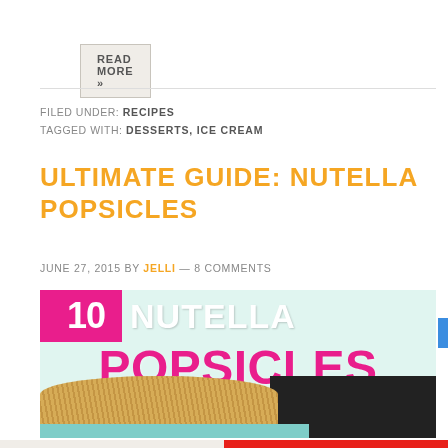READ MORE »
FILED UNDER: RECIPES
TAGGED WITH: DESSERTS, ICE CREAM
ULTIMATE GUIDE: NUTELLA POPSICLES
JUNE 27, 2015 BY JELLI — 8 COMMENTS
[Figure (photo): Featured image for Nutella Popsicles article showing text overlay 'NUTELLA POPSICLES' on teal background with shredded coconut topping on a teal plate and dark background on right side]